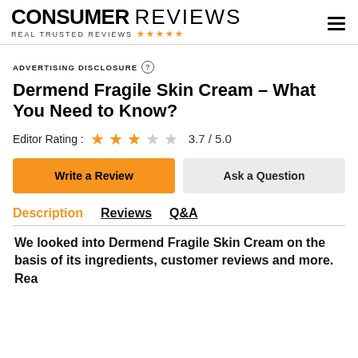CONSUMER REVIEWS — REAL TRUSTED REVIEWS
ADVERTISING DISCLOSURE ?
Dermend Fragile Skin Cream – What You Need to Know?
Editor Rating : 3.7 / 5.0
Write a Review
Ask a Question
Description  Reviews  Q&A
We looked into Dermend Fragile Skin Cream on the basis of its ingredients, customer reviews and more. Rea...